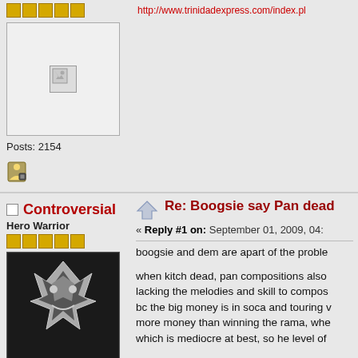http://www.trinidadexpress.com/index.pl...
Posts: 2154
[Figure (other): Broken image placeholder (avatar)]
[Figure (other): User profile icon]
Controversial
Hero Warrior
[Figure (other): Avatar: Decepticon logo on dark background]
Posts: 6765
[Figure (other): User profile icon and globe icon]
Re: Boogsie say Pan dead
« Reply #1 on: September 01, 2009, 04:
boogsie and dem are apart of the proble
when kitch dead, pan compositions also lacking the melodies and skill to compos bc the big money is in soca and touring v more money than winning the rama, whe which is mediocre at best, so he level of
first thing is, fellahs like boogsie and dem arnold and forteaux... or accept tunes tha but are good musicians and singers.
you have to have good music in order to